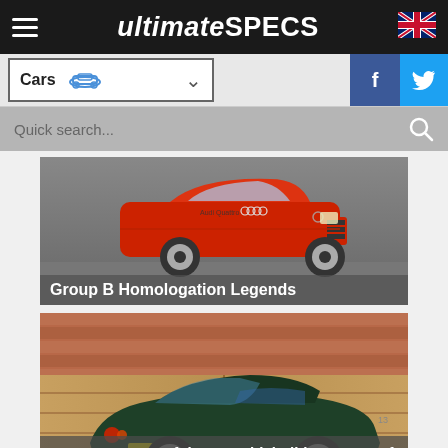ultimateSPECS
Cars
Quick search...
[Figure (photo): Red Audi sport car photographed from the front-side, used as thumbnail for 'Group B Homologation Legends' article]
Group B Homologation Legends
[Figure (photo): Dark green classic sports car (Aston Martin) parked in front of wooden garage doors with tiled roof, thumbnail for '80s style' article]
Forgotten stars of the 80s which didn't go out of style